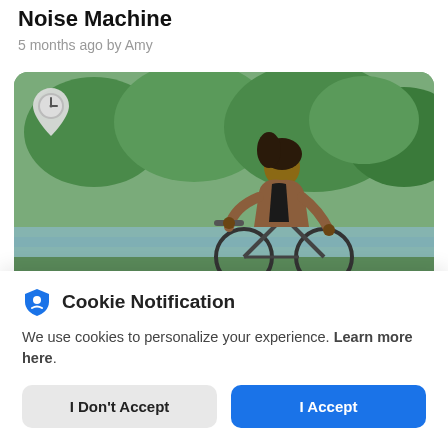Homedics Baby SoundSpa Lullaby White Noise Machine
5 months ago by Amy
[Figure (photo): Woman riding a bicycle outdoors in a park, with green trees in the background. A clock/location pin icon is overlaid in the upper left corner of the image.]
Cookie Notification
We use cookies to personalize your experience. Learn more here.
I Don't Accept | I Accept